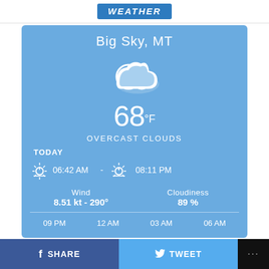WEATHER
Big Sky, MT
[Figure (illustration): Cloud weather icon — a white outlined cloud with a lighter blue fill]
68 °F
OVERCAST CLOUDS
TODAY
06:42 AM  -  08:11 PM
Wind
8.51 kt - 290°
Cloudiness
89 %
09 PM   12 AM   03 AM   06 AM
f  SHARE      TWEET      ...